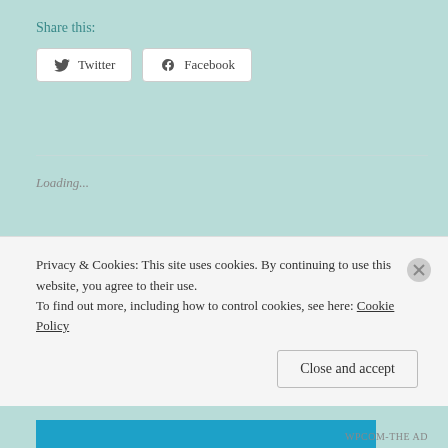Share this:
Twitter
Facebook
Loading...
Related
Daisy Days
Privacy & Cookies: This site uses cookies. By continuing to use this website, you agree to their use. To find out more, including how to control cookies, see here: Cookie Policy
Close and accept